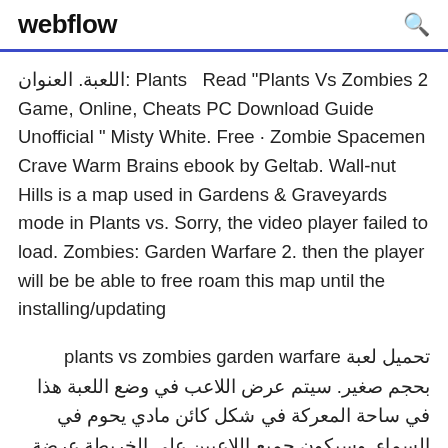webflow
اللعبة. العنوان: Plants  Read "Plants Vs Zombies 2 Game, Online, Cheats PC Download Guide Unofficial " Misty White. Free · Zombie Spacemen Crave Warm Brains ebook by Geltab. Wall-nut Hills is a map used in Gardens & Graveyards mode in Plants vs. Sorry, the video player failed to load. Zombies: Garden Warfare 2. then the player will be be able to free roam this map until the installing/updating
تحميل لعبة plants vs zombies garden warfare بحجم صغير. سيتم عرض اللاعب في وضع اللعبة هذا في ساحة المعركة في شكل كائن مادي يحوم في السماء. وسيكون جميع اللاعبين على الخريطة عرضة للهجوم Plants VS Zombies